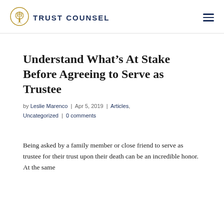Trust Counsel
Understand What’s At Stake Before Agreeing to Serve as Trustee
by Leslie Marenco | Apr 5, 2019 | Articles, Uncategorized | 0 comments
Being asked by a family member or close friend to serve as trustee for their trust upon their death can be an incredible honor. At the same